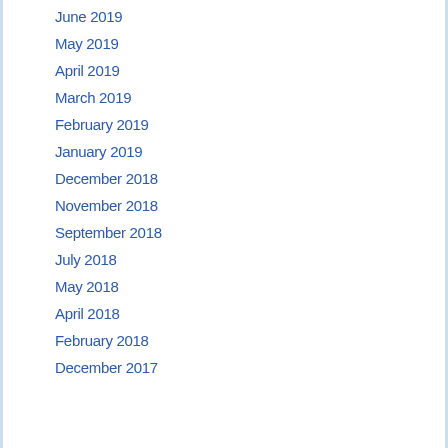June 2019
May 2019
April 2019
March 2019
February 2019
January 2019
December 2018
November 2018
September 2018
July 2018
May 2018
April 2018
February 2018
December 2017